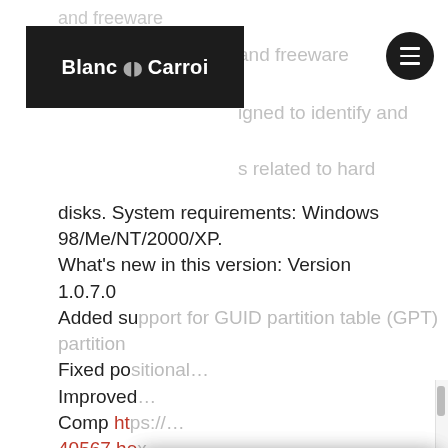[Figure (logo): Blanc N Carroi logo — white text on black rectangular background]
and freeware
igned to identify and
s related to hard
disks. System requirements: Windows 98/Me/NT/2000/XP.
What’s new in this version: Version 1.0.7.0
Added su... partition...
Fixed po...
Improve...
Comp ht... 40567.he... ec5d620...
Nous utilisons des cookies sur notre site pour vous offrir l’expérience la plus pertinente en mémorisant vos préférences et les visites répétées. En cliquant sur «ACCEPTER», vous consentez à l’utilisation de TOUS les cookies.
Mentions légales
ACCEPTER